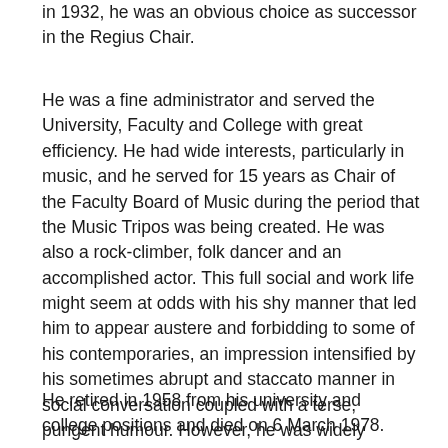in 1932, he was an obvious choice as successor in the Regius Chair.
He was a fine administrator and served the University, Faculty and College with great efficiency. He had wide interests, particularly in music, and he served for 15 years as Chair of the Faculty Board of Music during the period that the Music Tripos was being created. He was also a rock-climber, folk dancer and an accomplished actor. This full social and work life might seem at odds with his shy manner that led him to appear austere and forbidding to some of his contemporaries, an impression intensified by his sometimes abrupt and staccato manner in social conversation coupled with a terse, pungent humour. However, he was widely admired by those who knew him better and who appreciated his wisdom and understanding.
He retired in 1958 from his university and college positions and died on 6 March 1978.